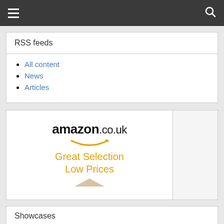Navigation bar with hamburger menu and search icon
RSS feeds
All content
News
Articles
[Figure (advertisement): Amazon.co.uk advertisement with logo, smile arrow, and text 'Great Selection Low Prices']
Showcases